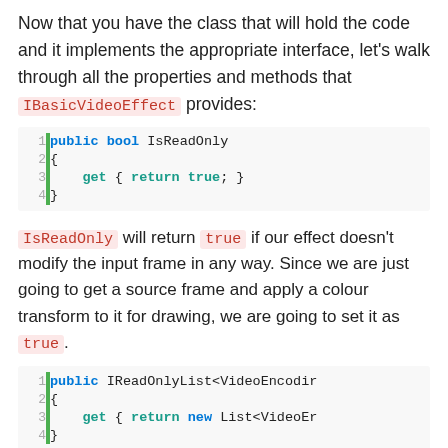Now that you have the class that will hold the code and it implements the appropriate interface, let's walk through all the properties and methods that IBasicVideoEffect provides:
[Figure (screenshot): Code block showing: public bool IsReadOnly { get { return true; } }]
IsReadOnly will return true if our effect doesn't modify the input frame in any way. Since we are just going to get a source frame and apply a colour transform to it for drawing, we are going to set it as true.
[Figure (screenshot): Code block showing: public IReadOnlyList<VideoEncodin { get { return new List<VideoEr }]